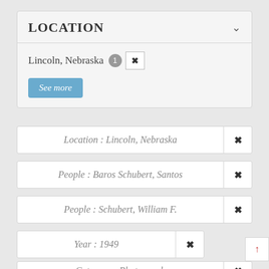Location
Lincoln, Nebraska 1 ✕
See more
Location : Lincoln, Nebraska ✕
People : Baros Schubert, Santos ✕
People : Schubert, William F. ✕
Year : 1949 ✕
Category : Photograph ✕